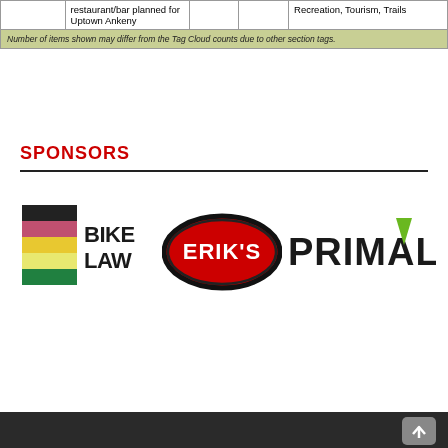|  | restaurant/bar planned for Uptown Ankeny |  |  | Recreation, Tourism, Trails |
Number of items shown may differ from the Tag Cloud counts due to other section tags.
SPONSORS
[Figure (logo): Bike Law logo - colored stripe flag with BIKE LAW text]
[Figure (logo): Erik's logo - red oval with ERIK'S text]
[Figure (logo): Primal logo - dark text with green accent]
More →